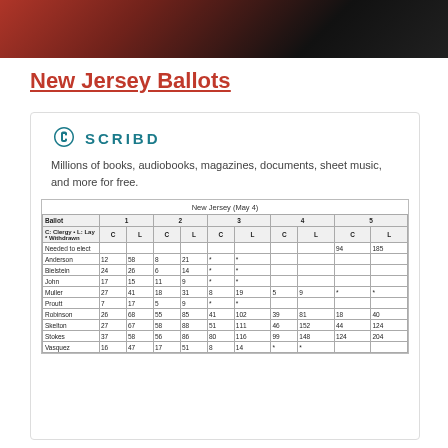[Figure (photo): Dark photo banner at top of page, partially showing a person in red clothing against a dark background.]
New Jersey Ballots
[Figure (screenshot): Scribd embedded document card with logo, tagline 'Millions of books, audiobooks, magazines, documents, sheet music, and more for free.' and a preview table of New Jersey (May 4) ballot data.]
| Ballot | 1 C | 1 L | 2 C | 2 L | 3 C | 3 L | 4 C | 4 L | 5 C | 5 L |
| --- | --- | --- | --- | --- | --- | --- | --- | --- | --- | --- |
| C: Clergy L: Lay * Withdrawn |  |  |  |  |  |  |  |  |  |  |
| Needed to elect |  |  |  |  |  |  |  |  | 94 | 185 |
| Anderson | 12 | 58 | 8 | 21 | * | * |  |  |  |  |
| Bielstein | 24 | 26 | 6 | 14 | * | * |  |  |  |  |
| John | 17 | 15 | 11 | 9 | * | * |  |  |  |  |
| Muller | 27 | 41 | 18 | 31 | 8 | 19 | 5 | 9 | * | * |
| Proutt | 7 | 17 | 5 | 9 | * | * |  |  |  |  |
| Robinson | 26 | 68 | 55 | 85 | 41 | 102 | 39 | 81 | 18 | 40 |
| Skelton | 27 | 67 | 58 | 88 | 51 | 111 | 46 | 152 | 44 | 124 |
| Stokes | 37 | 58 | 56 | 86 | 80 | 116 | 99 | 148 | 124 | 204 |
| Vasquez | 16 | 47 | 17 | 51 | 8 | 14 | * | * |  |  |